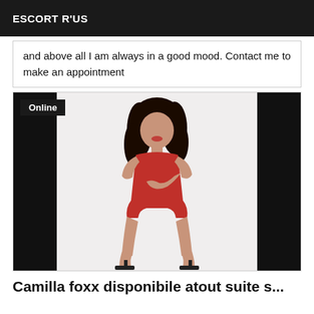ESCORT R'US
and above all I am always in a good mood. Contact me to make an appointment
[Figure (photo): A woman in a red bodysuit and high heels posing against a white background, with black bars on either side of the image. An 'Online' badge is shown in the top-left corner of the card.]
Camilla foxx disponibile atout suite s...